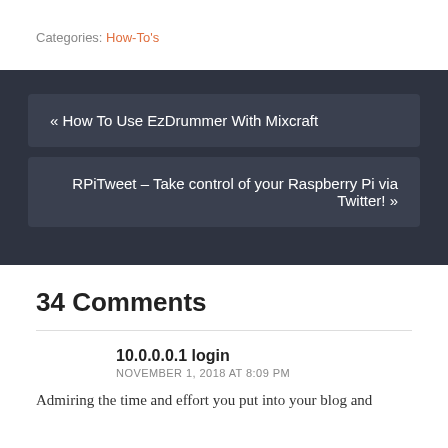Categories: How-To's
« How To Use EzDrummer With Mixcraft
RPiTweet – Take control of your Raspberry Pi via Twitter! »
34 Comments
10.0.0.0.1 login
NOVEMBER 1, 2018 AT 8:09 PM
Admiring the time and effort you put into your blog and